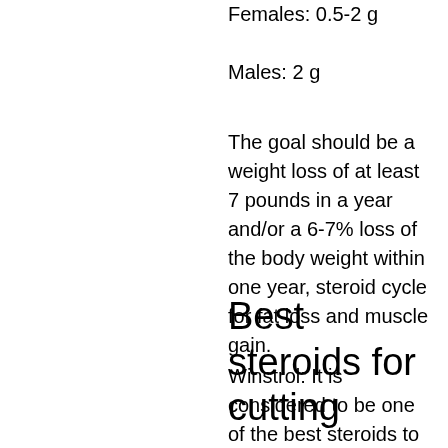Females: 0.5-2 g
Males: 2 g
The goal should be a weight loss of at least 7 pounds in a year and/or a 6-7% loss of the body weight within one year, steroid cycle for fat loss and muscle gain.
Best steroids for cutting
Winstrol: It is considered to be one of the best steroids to add to the cutting stack while trying to get a ripped off body and also best steroids for abs. I have been using in 4-5 weeks for strength and size and am feeling great, but I have to take care of it's growth process. I took it a few times with little success and no side effects, top 10 legal bodybuilding supplements. The product is very